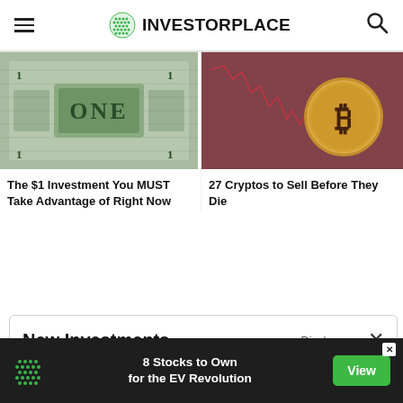INVESTORPLACE
[Figure (photo): Close-up photo of a US one dollar bill in green tones]
The $1 Investment You MUST Take Advantage of Right Now
[Figure (photo): Bitcoin gold coin with red declining stock chart behind it on a dark red/brown background]
27 Cryptos to Sell Before They Die
New Investments
Disclosure
[Figure (screenshot): Advertisement banner: 8 Stocks to Own for the EV Revolution with View button]